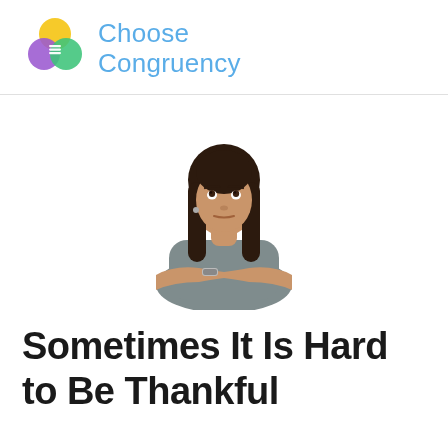[Figure (logo): Choose Congruency logo: overlapping circles in yellow, purple, green with stacked lines icon, beside blue text 'Choose Congruency']
[Figure (photo): Young woman with dark hair, wearing a grey turtleneck shirt, resting her arms on a surface, looking upward with a skeptical or uncertain expression, on white background]
Sometimes It Is Hard to Be Thankful